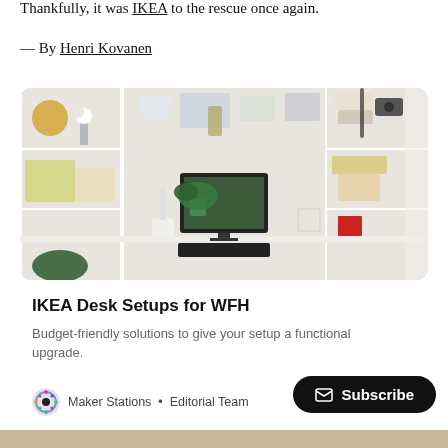Thankfully, it was IKEA to the rescue once again.
— By Henri Kovanen
[Figure (photo): A home office desk setup with white IKEA shelving units on either side, holding plants, books, and decorative items. A computer monitor, keyboard, and a white lamp sit on the desk in the center. Various photos and items are pinned to the shelving panels.]
IKEA Desk Setups for WFH
Budget-friendly solutions to give your setup a functional upgrade.
Maker Stations • Editorial Team